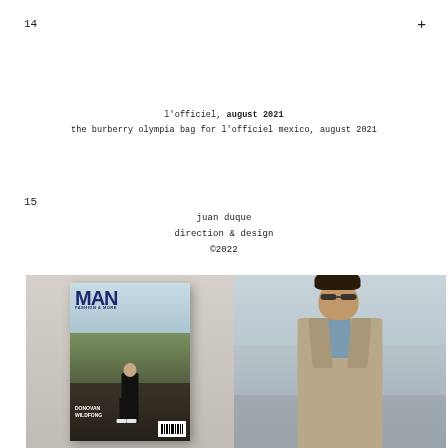14
+
l'officiel, august 2021
the burberry olympia bag for l'officiel mexico, august 2021
15
juan duque
direction & design
©2022
[Figure (photo): Magazine cover of MAN featuring Donovan Wildfong, man standing on rocky beach in black outfit]
[Figure (photo): Man wearing sunglasses and a grey oversized coat on a beach, light sandy dunes in background]